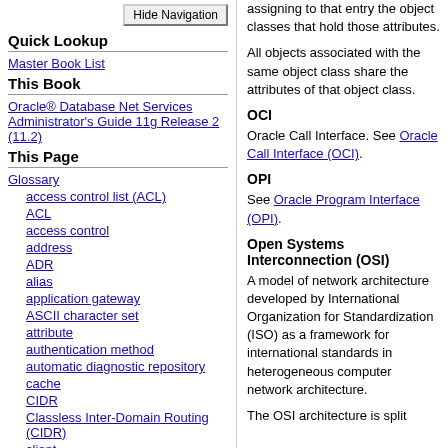[Figure (screenshot): Hide Navigation button in top right of left navigation panel]
Quick Lookup
Master Book List
This Book
Oracle® Database Net Services Administrator's Guide 11g Release 2 (11.2)
This Page
Glossary
access control list (ACL)
ACL
access control
address
ADR
alias
application gateway
ASCII character set
attribute
authentication method
automatic diagnostic repository
cache
CIDR
Classless Inter-Domain Routing (CIDR)
client
client load balancing
assigning to that entry the object classes that hold those attributes.
All objects associated with the same object class share the attributes of that object class.
OCI
Oracle Call Interface. See Oracle Call Interface (OCI).
OPI
See Oracle Program Interface (OPI).
Open Systems Interconnection (OSI)
A model of network architecture developed by International Organization for Standardization (ISO) as a framework for international standards in heterogeneous computer network architecture.
The OSI architecture is split